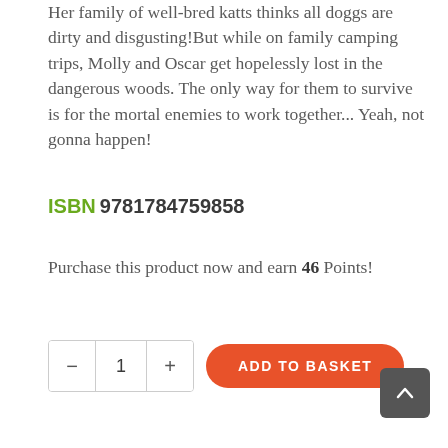Her family of well-bred katts thinks all doggs are dirty and disgusting!But while on family camping trips, Molly and Oscar get hopelessly lost in the dangerous woods. The only way for them to survive is for the mortal enemies to work together... Yeah, not gonna happen!
ISBN 9781784759858
Purchase this product now and earn 46 Points!